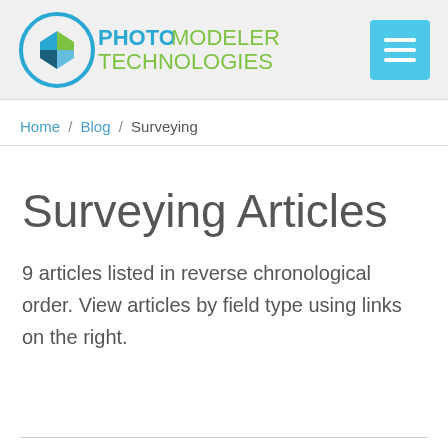PhotoModeler Technologies — navigation header with logo and menu button
Home / Blog / Surveying
Surveying Articles
9 articles listed in reverse chronological order. View articles by field type using links on the right.